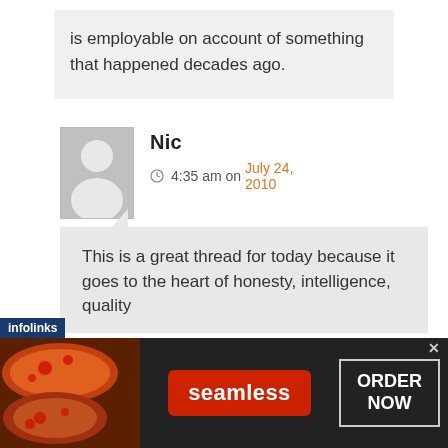is employable on account of something that happened decades ago.
Nic
4:35 am on July 24, 2010
This is a great thread for today because it goes to the heart of honesty, intelligence, quality
[Figure (other): Seamless food delivery advertisement banner with pizza image, seamless logo, and ORDER NOW button]